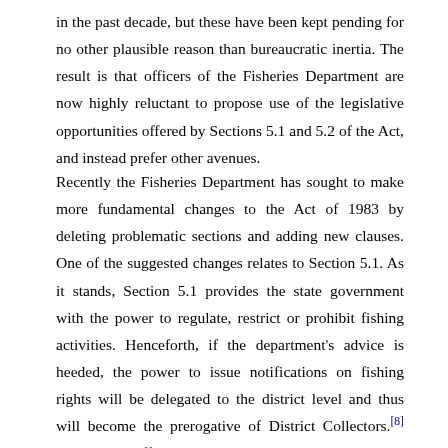in the past decade, but these have been kept pending for no other plausible reason than bureaucratic inertia. The result is that officers of the Fisheries Department are now highly reluctant to propose use of the legislative opportunities offered by Sections 5.1 and 5.2 of the Act, and instead prefer other avenues.
Recently the Fisheries Department has sought to make more fundamental changes to the Act of 1983 by deleting problematic sections and adding new clauses. One of the suggested changes relates to Section 5.1. As it stands, Section 5.1 provides the state government with the power to regulate, restrict or prohibit fishing activities. Henceforth, if the department's advice is heeded, the power to issue notifications on fishing rights will be delegated to the district level and thus will become the prerogative of District Collectors.[8] Department officers believe this would reduce red-tape and speed the process of state law-making; it would also make it easier to adapt regulations to the conditions of individual districts. If this amendment is passed, every administrative